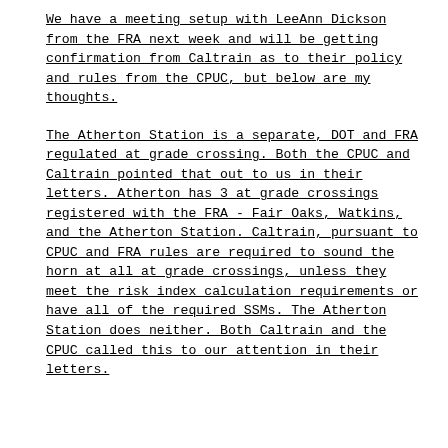We have a meeting setup with LeeAnn Dickson from the FRA next week and will be getting confirmation from Caltrain as to their policy and rules from the CPUC, but below are my thoughts.
The Atherton Station is a separate, DOT and FRA regulated at grade crossing. Both the CPUC and Caltrain pointed that out to us in their letters. Atherton has 3 at grade crossings registered with the FRA - Fair Oaks, Watkins, and the Atherton Station. Caltrain, pursuant to CPUC and FRA rules are required to sound the horn at all at grade crossings, unless they meet the risk index calculation requirements or have all of the required SSMs. The Atherton Station does neither. Both Caltrain and the CPUC called this to our attention in their letters.